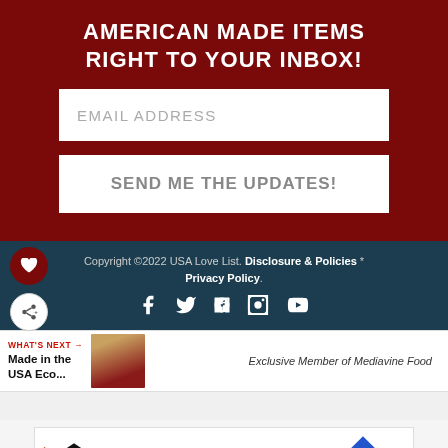AMERICAN MADE ITEMS RIGHT TO YOUR INBOX!
EMAIL ADDRESS
SEND ME THE UPDATES!
Copyright ©2022 USA Love List. Disclosure & Policies * Privacy Policy.
[Figure (infographic): Social media icons: Facebook, Twitter, Pinterest, Instagram, YouTube in white on dark teal background]
WHAT'S NEXT → Made in the USA Eco...
Exclusive Member of Mediavine Food
[Figure (screenshot): Advertisement bar showing Topgolf logo with Dine-in checkmark and Delivery X cross, map navigation icon, and WW logo]